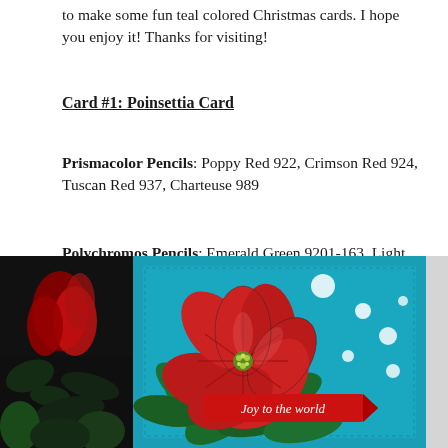to make some fun teal colored Christmas cards. I hope you enjoy it! Thanks for visiting!
Card #1: Poinsettia Card
Prismacolor Pencils: Poppy Red 922, Crimson Red 924, Tuscan Red 937, Charteuse 989
Polychromos Pencils: Emerald Green 9201-163, Light Green 9201-171
[Figure (photo): A poinsettia Christmas card on teal background with red poinsettia flower, green leaves, white circle embellishments, and a red banner reading 'Joy to the world'. A dark floral photo appears on the left.]